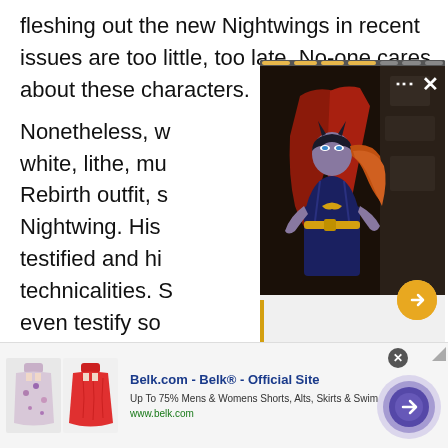fleshing out the new Nightwings in recent issues are too little, too late. No-one cares about these characters. Nonetheless, w... white, lithe, mus... Rebirth outfit, s... Nightwing. His m... testified and his... technicalities. S... even testify so h... he's going to th... behaving (à la Batman: Year One)?
[Figure (photo): A popup overlay panel showing a Batgirl character in a dark blue costume with a yellow utility belt and cape, standing in a dark environment. Panel has a progress strip at top, close button (X), options button (...), and a yellow circular arrow button.]
[Figure (screenshot): Advertisement banner for Belk.com showing two skirts (floral and red), with text 'Belk.com - Belk® - Official Site', 'Up To 75% Mens & Womens Shorts, Alts, Skirts & Swim', 'www.belk.com', a circular close button (x), and a purple circular navigation button with arrow.]